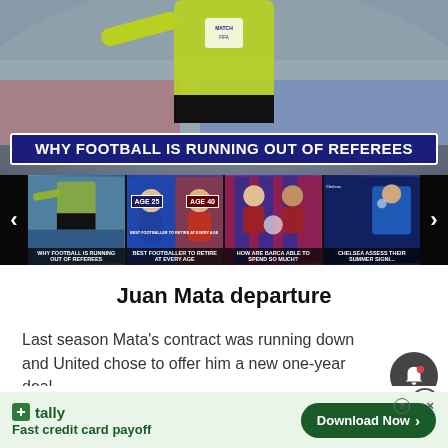[Figure (screenshot): Hero image of a football referee in yellow jersey with 'Why Football Is Running Out Of Referees' title bar]
[Figure (screenshot): Thumbnail strip carousel with 4 video thumbnails: 'Why Football Is Running Out Of Referees', 'Best Footballer To Retire At Every Age' (Age 25, Age 40), 'How Are Barcelona Able To Spend So Much?', Chelsea summer signing. Left and right navigation arrows.]
Juan Mata departure
Last season Mata's contract was running down and United chose to offer him a new one-year deal.
[Figure (screenshot): Advertisement banner: Tally - Fast credit card payoff with Download Now button]